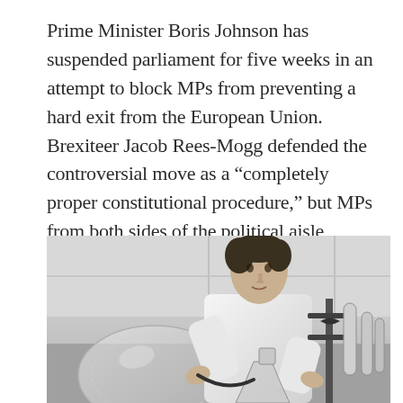Prime Minister Boris Johnson has suspended parliament for five weeks in an attempt to block MPs from preventing a hard exit from the European Union. Brexiteer Jacob Rees-Mogg defended the controversial move as a “completely proper constitutional procedure,” but MPs from both sides of the political aisle denounced it as a “constitutional outrage” and a “coup”. The BBC has more.
[Figure (photo): Black and white photograph of a young man in a white lab coat working with laboratory glassware and equipment, including a large glass dome and metal stands with tubes.]